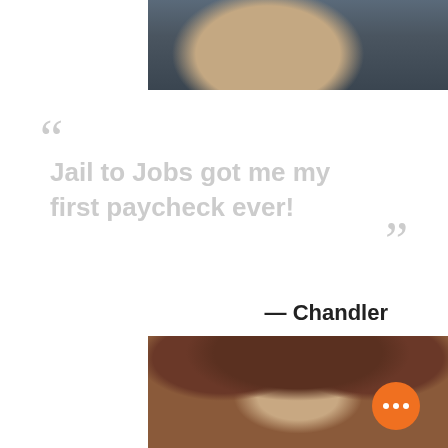[Figure (photo): Partial photo of a person in a dark blue t-shirt, visible from torso; outdoor setting with cars and greenery in background]
“ Jail to Jobs got me my first paycheck ever! ”
— Chandler
[Figure (photo): Close-up photo of a young person with curly dark reddish-brown hair, partially obscuring their face; orange circular more/menu button in bottom right corner]